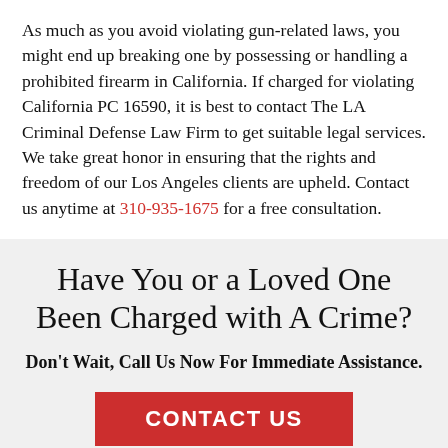As much as you avoid violating gun-related laws, you might end up breaking one by possessing or handling a prohibited firearm in California. If charged for violating California PC 16590, it is best to contact The LA Criminal Defense Law Firm to get suitable legal services. We take great honor in ensuring that the rights and freedom of our Los Angeles clients are upheld. Contact us anytime at 310-935-1675 for a free consultation.
Have You or a Loved One Been Charged with A Crime?
Don't Wait, Call Us Now For Immediate Assistance.
CONTACT US